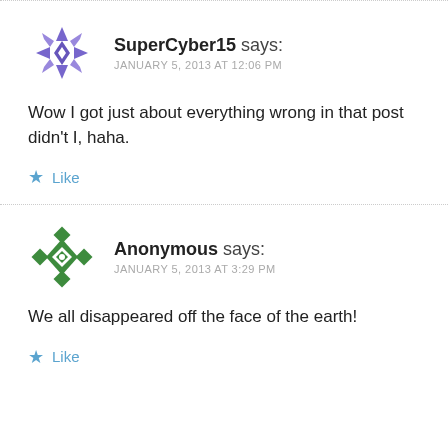SuperCyber15 says: JANUARY 5, 2013 AT 12:06 PM
Wow I got just about everything wrong in that post didn't I, haha.
Like
Anonymous says: JANUARY 5, 2013 AT 3:29 PM
We all disappeared off the face of the earth!
Like